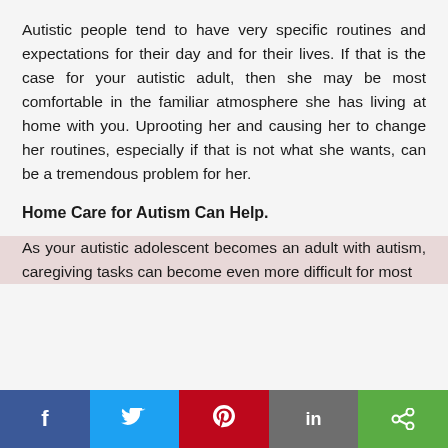Autistic people tend to have very specific routines and expectations for their day and for their lives. If that is the case for your autistic adult, then she may be most comfortable in the familiar atmosphere she has living at home with you. Uprooting her and causing her to change her routines, especially if that is not what she wants, can be a tremendous problem for her.
Home Care for Autism Can Help.
As your autistic adolescent becomes an adult with autism, caregiving tasks can become even more difficult for most
[Figure (other): Social sharing bar with Facebook, Twitter, Pinterest, LinkedIn, and share buttons]